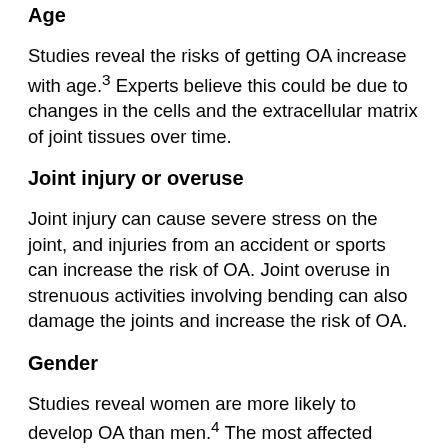Age
Studies reveal the risks of getting OA increase with age.³ Experts believe this could be due to changes in the cells and the extracellular matrix of joint tissues over time.
Joint injury or overuse
Joint injury can cause severe stress on the joint, and injuries from an accident or sports can increase the risk of OA. Joint overuse in strenuous activities involving bending can also damage the joints and increase the risk of OA.
Gender
Studies reveal women are more likely to develop OA than men.⁴ The most affected women are aged 50 and over. Hormonal factors could play a role in